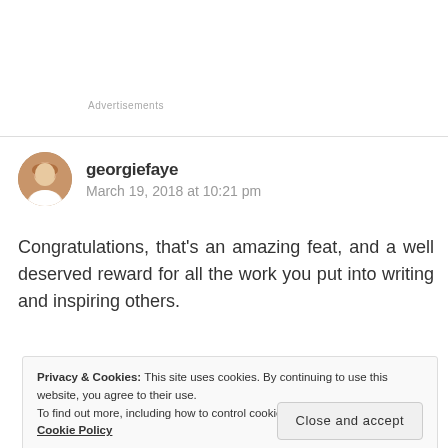Advertisements
georgiefaye
March 19, 2018 at 10:21 pm
Congratulations, that's an amazing feat, and a well deserved reward for all the work you put into writing and inspiring others.
Privacy & Cookies: This site uses cookies. By continuing to use this website, you agree to their use.
To find out more, including how to control cookies, see here:
Cookie Policy
Close and accept